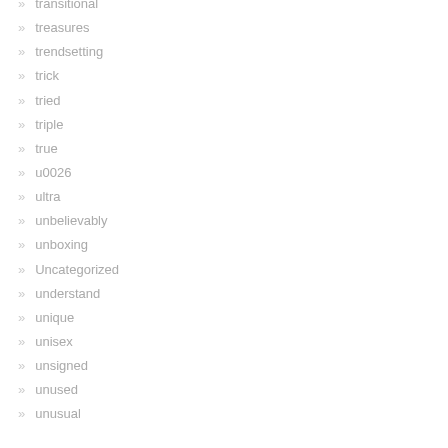transitional
treasures
trendsetting
trick
tried
triple
true
u0026
ultra
unbelievably
unboxing
Uncategorized
understand
unique
unisex
unsigned
unused
unusual